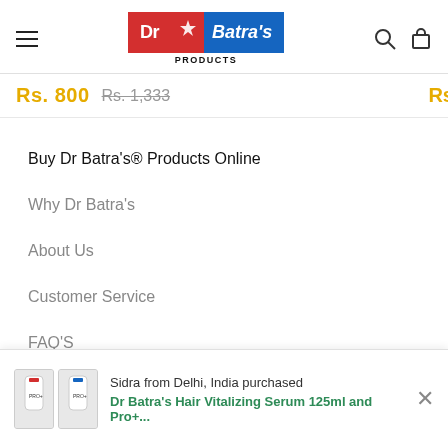Dr Batra's Products - navigation header with logo, hamburger menu, search and cart icons
Rs. 800  Rs. 1,333
Buy Dr Batra's® Products Online
Why Dr Batra's
About Us
Customer Service
FAQ'S
Policy of Ret...
Privacy Policy
Sidra from Delhi, India purchased
Dr Batra's Hair Vitalizing Serum 125ml and Pro+...